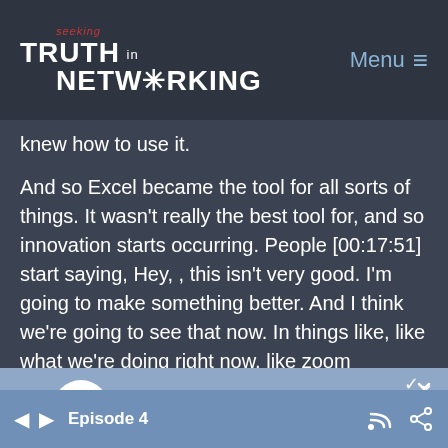seeking TRUTH in NETWORKING  Menu
knew how to use it.
And so Excel became the tool for all sorts of things. It wasn't really the best tool for, and so innovation starts occurring. People [00:17:51] start saying, Hey, , this isn't very good. I'm going to make something better. And I think we're going to see that now. In things like, like what we're doing right now, like zoom communications, I think zoom is great and
[Figure (other): Audio player controls with -15s skip back, play button, +15s skip forward, progress bar, and 1x speed label]
Episode 4